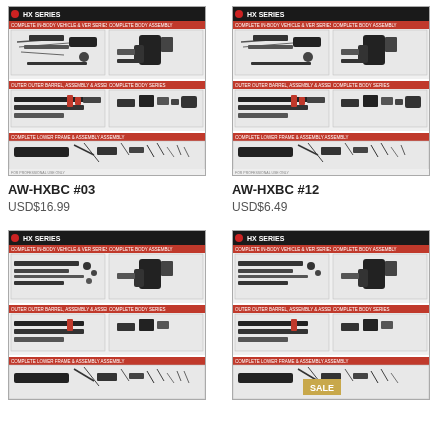[Figure (illustration): AW-HXBC #03 product image showing HX Series parts kit diagram with components]
AW-HXBC #03
USD$16.99
[Figure (illustration): AW-HXBC #12 product image showing HX Series parts kit diagram with components]
AW-HXBC #12
USD$6.49
[Figure (illustration): HX Series parts kit product image, lower left]
[Figure (illustration): HX Series parts kit product image with SALE badge, lower right]